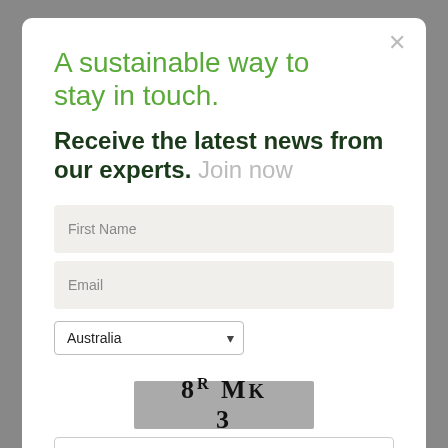A sustainable way to stay in touch.
Receive the latest news from our experts. Join now
[Figure (screenshot): Modal dialog with newsletter signup form containing First Name field, Email field, Australia country dropdown, CAPTCHA image showing '8 R MK 3', a CAPTCHA input field, and a submit button]
First Name
Email
Australia
[Figure (other): CAPTCHA image showing text '8 R MK 3' on grey background]